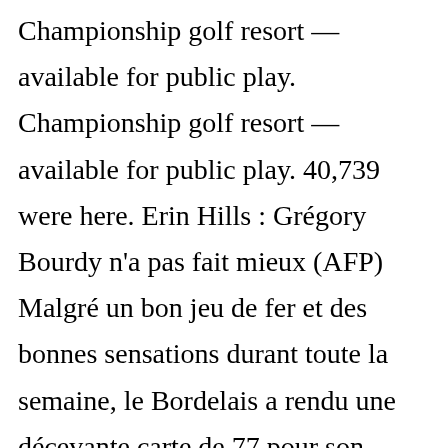Championship golf resort — available for public play. Championship golf resort — available for public play. 40,739 were here. Erin Hills : Grégory Bourdy n'a pas fait mieux (AFP) Malgré un bon jeu de fer et des bonnes sensations durant toute la semaine, le Bordelais a rendu une décevante carte de 77 pour son premier tour. US Open 2016 : Dustin Johnson vient d'apprendre que 6 trous après un soucis de règle il est pénalisé... (Reuters) L'USGA ne veut plus revivre le Championship golf resort — available for public play. Erin Hills